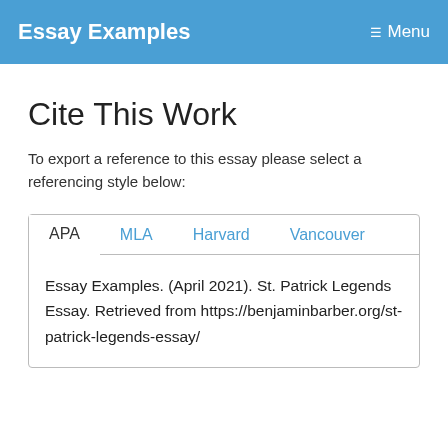Essay Examples   Menu
Cite This Work
To export a reference to this essay please select a referencing style below:
APA   MLA   Harvard   Vancouver
Essay Examples. (April 2021). St. Patrick Legends Essay. Retrieved from https://benjaminbarber.org/st-patrick-legends-essay/